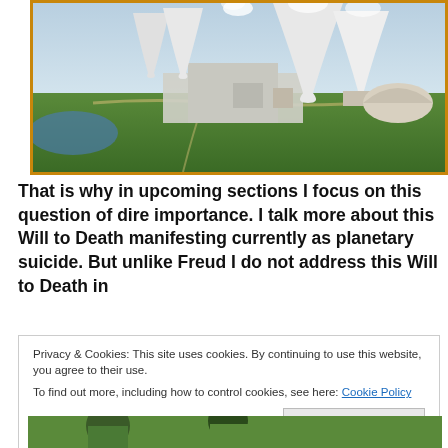[Figure (photo): Aerial photograph of a nuclear power plant with large cooling towers emitting steam, surrounded by green fields and water.]
That is why in upcoming sections I focus on this question of dire importance. I talk more about this Will to Death manifesting currently as planetary suicide. But unlike Freud I do not address this Will to Death in
Privacy & Cookies: This site uses cookies. By continuing to use this website, you agree to their use.
To find out more, including how to control cookies, see here: Cookie Policy
Close and accept
[Figure (photo): Partial view of people in a green outdoor setting at the bottom of the page.]